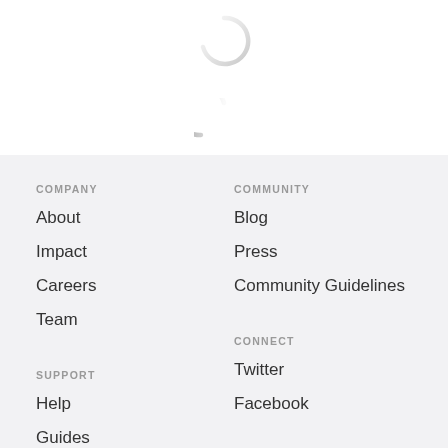[Figure (other): Two circular loading spinner icons stacked vertically, shown in light gray gradient on white background]
COMPANY
About
Impact
Careers
Team
COMMUNITY
Blog
Press
Community Guidelines
SUPPORT
Help
Guides
CONNECT
Twitter
Facebook